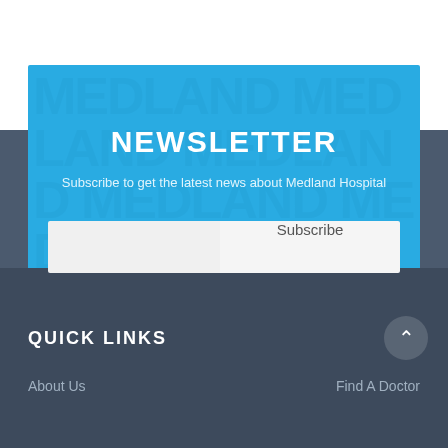NEWSLETTER
Subscribe to get the latest news about Medland Hospital
QUICK LINKS
About Us
Find A Doctor